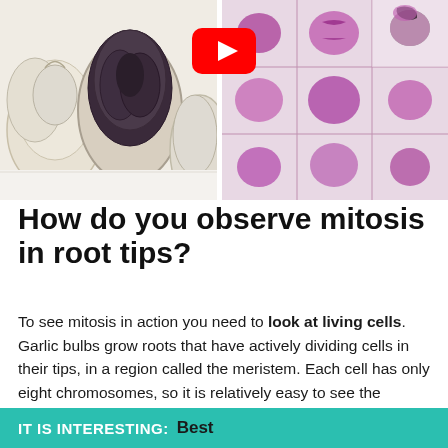[Figure (photo): Split image: left side shows garlic bulbs on white background, right side shows microscope image of cells with pink-stained nuclei undergoing mitosis. A YouTube play button overlay is visible at the top center.]
How do you observe mitosis in root tips?
To see mitosis in action you need to look at living cells. Garlic bulbs grow roots that have actively dividing cells in their tips, in a region called the meristem. Each cell has only eight chromosomes, so it is relatively easy to see the chromosomes once they have condensed.
IT IS INTERESTING:  Best